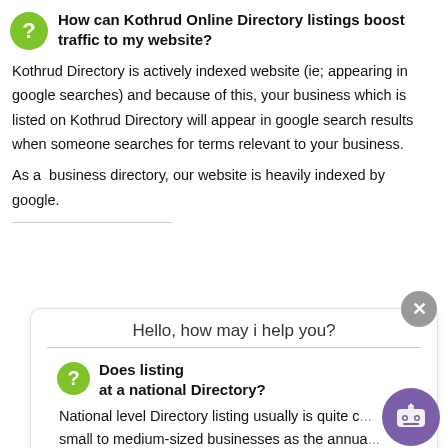How can Kothrud Online Directory listings boost traffic to my website?
Kothrud Directory is actively indexed website (ie; appearing in google searches) and because of this, your business which is listed on Kothrud Directory will appear in google search results when someone searches for terms relevant to your business.
As a  business directory, our website is heavily indexed by google.
Hello, how may i help you?
Does listing at a national Directory?
National level Directory listing usually is quite c... small to medium-sized businesses as the annua... can start anywhere from Rs.10000 and above. The